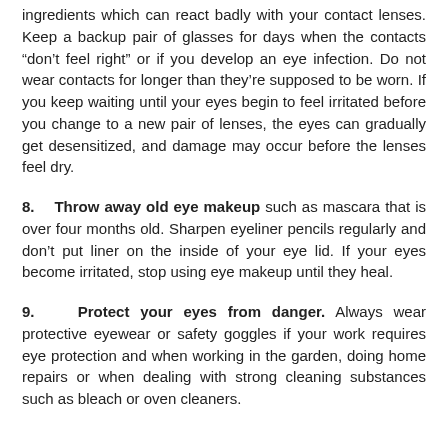ingredients which can react badly with your contact lenses. Keep a backup pair of glasses for days when the contacts “don’t feel right” or if you develop an eye infection. Do not wear contacts for longer than they’re supposed to be worn. If you keep waiting until your eyes begin to feel irritated before you change to a new pair of lenses, the eyes can gradually get desensitized, and damage may occur before the lenses feel dry.
8.   Throw away old eye makeup such as mascara that is over four months old. Sharpen eyeliner pencils regularly and don’t put liner on the inside of your eye lid. If your eyes become irritated, stop using eye makeup until they heal.
9.   Protect your eyes from danger. Always wear protective eyewear or safety goggles if your work requires eye protection and when working in the garden, doing home repairs or when dealing with strong cleaning substances such as bleach or oven cleaners.